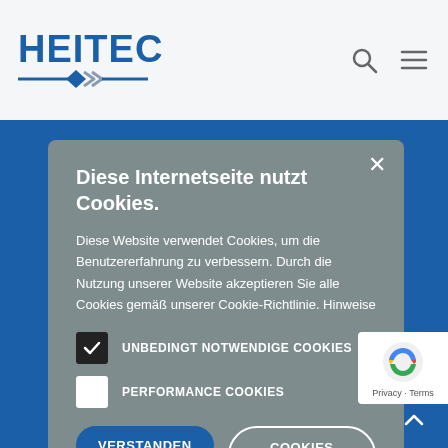[Figure (logo): HEITEC company logo with blue text and diamond/arrow graphic element below]
Diese Internetseite nutzt Cookies.
Diese Website verwendet Cookies, um die Benutzererfahrung zu verbessern. Durch die Nutzung unserer Website akzeptieren Sie alle Cookies gemäß unserer Cookie-Richtlinie. Hinweise
UNBEDINGT NOTWENDIGE COOKIES
PERFORMANCE COOKIES
VERSTANDEN
COOKIES VERBIETEN
ZEIGE DETAILS